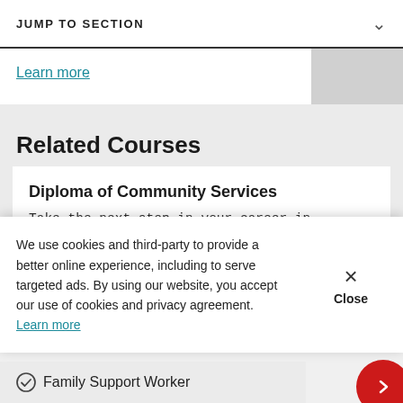JUMP TO SECTION
Learn more
Related Courses
Diploma of Community Services
Take the next step in your career in community services with this advanced qualification. This course is perfect fo...
We use cookies and third-party to provide a better online experience, including to serve targeted ads. By using our website, you accept our use of cookies and privacy agreement.  Learn more
Family Support Worker